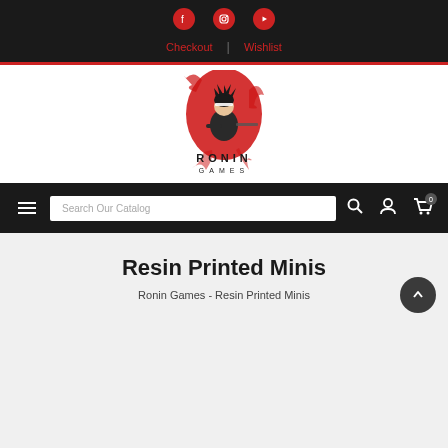Social icons: Facebook, Instagram, YouTube | Checkout | Wishlist
[Figure (logo): Ronin Games logo — anime-style ninja character with red ink splash background, text RONIN GAMES below]
Search Our Catalog [search bar] [search icon] [account icon] [cart icon with badge 0]
Resin Printed Minis
Ronin Games  -  Resin Printed Minis